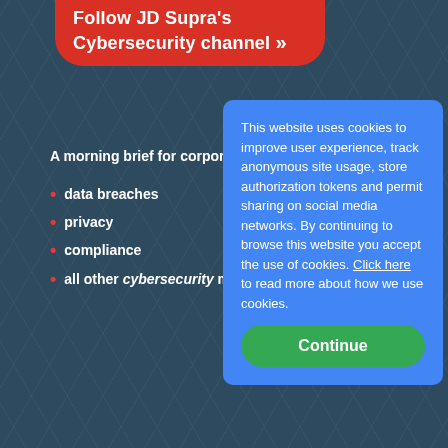Follow JD Supra's Cybersecurity channel »
A morning brief for corporate r...
data breaches
security
privacy
risk management
compliance
global regulation
all other cybersecurity matters
This website uses cookies to improve user experience, track anonymous site usage, store authorization tokens and permit sharing on social media networks. By continuing to browse this website you accept the use of cookies. Click here to read more about how we use cookies.
Continue
EXPLORE RELATED CATEGORIES
Construction Law
Science, Computers, & Technology
Law Practice Products & Services
Labor & Employment Law
Intellectual Property